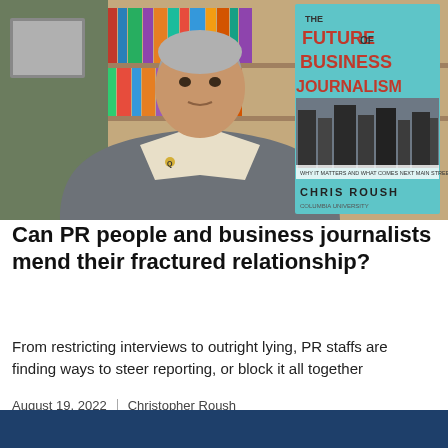[Figure (photo): A middle-aged man with gray hair wearing a gray suit over a light shirt with a Q lapel pin sits in front of bookshelves. To the right is a book cover reading 'The Future of Business Journalism' by Chris Roush.]
Can PR people and business journalists mend their fractured relationship?
From restricting interviews to outright lying, PR staffs are finding ways to steer reporting, or block it all together
August 19, 2022  |  Christopher Roush
[Figure (photo): Bottom strip showing partial image with dark blue/navy background.]